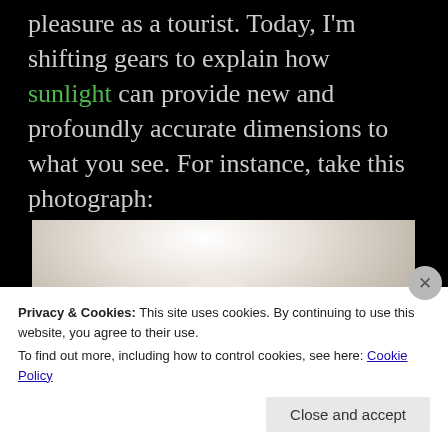pleasure as a tourist. Today, I'm shifting gears to explain how sunlight can provide new and profoundly accurate dimensions to what you see. For instance, take this photograph:
[Figure (photo): A silhouette of a person against a bright white/light background, the figure appears dark against the luminous backdrop suggesting strong backlight or sunlight from above.]
Privacy & Cookies: This site uses cookies. By continuing to use this website, you agree to their use. To find out more, including how to control cookies, see here: Cookie Policy
Close and accept